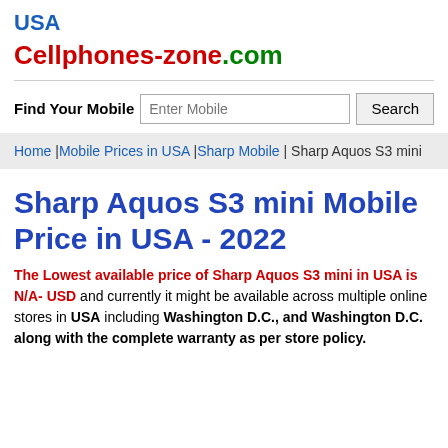USA
Cellphones-zone.com
Find Your Mobile [Enter Mobile] [Search]
Home | Mobile Prices in USA | Sharp Mobile | Sharp Aquos S3 mini
Sharp Aquos S3 mini Mobile Price in USA - 2022
The Lowest available price of Sharp Aquos S3 mini in USA is N/A- USD and currently it might be available across multiple online stores in USA including Washington D.C., and Washington D.C. along with the complete warranty as per store policy.